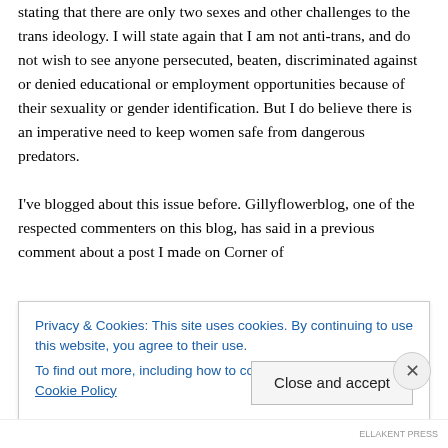stating that there are only two sexes and other challenges to the trans ideology. I will state again that I am not anti-trans, and do not wish to see anyone persecuted, beaten, discriminated against or denied educational or employment opportunities because of their sexuality or gender identification. But I do believe there is an imperative need to keep women safe from dangerous predators.

I've blogged about this issue before. Gillyflowerblog, one of the respected commenters on this blog, has said in a previous comment about a post I made on Corner of
Privacy & Cookies: This site uses cookies. By continuing to use this website, you agree to their use.
To find out more, including how to control cookies, see here: Cookie Policy